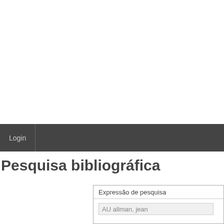Login
Pesquisa bibliográfica
Expressão de pesquisa
AU allman, jean